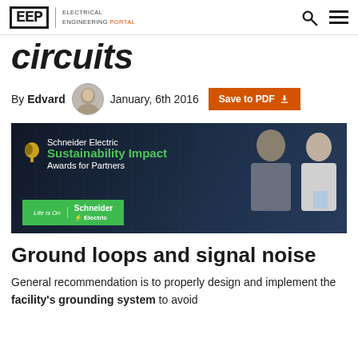EEP | Electrical Engineering Portal
circuits
By Edvard   January, 6th 2016   Save to PDF
[Figure (photo): Schneider Electric Sustainability Impact Awards for Partners advertisement banner showing two people in a server room]
Ground loops and signal noise
General recommendation is to properly design and implement the facility's grounding system to avoid